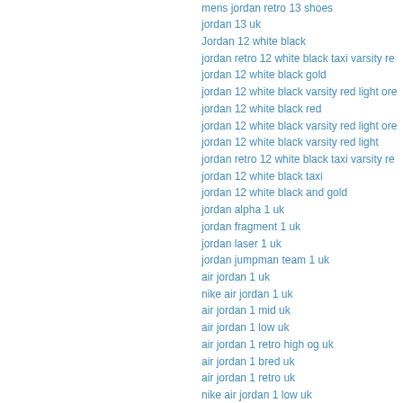mens jordan retro 13 shoes
jordan 13 uk
Jordan 12 white black
jordan retro 12 white black taxi varsity re
jordan 12 white black gold
jordan 12 white black varsity red light ore
jordan 12 white black red
jordan 12 white black varsity red light ore
jordan 12 white black varsity red light
jordan retro 12 white black taxi varsity re
jordan 12 white black taxi
jordan 12 white black and gold
jordan alpha 1 uk
jordan fragment 1 uk
jordan laser 1 uk
jordan jumpman team 1 uk
air jordan 1 uk
nike air jordan 1 uk
air jordan 1 mid uk
air jordan 1 low uk
air jordan 1 retro high og uk
air jordan 1 bred uk
air jordan 1 retro uk
nike air jordan 1 low uk
air jordan 1 pinnacle uk
nike sb air jordan 1 uk